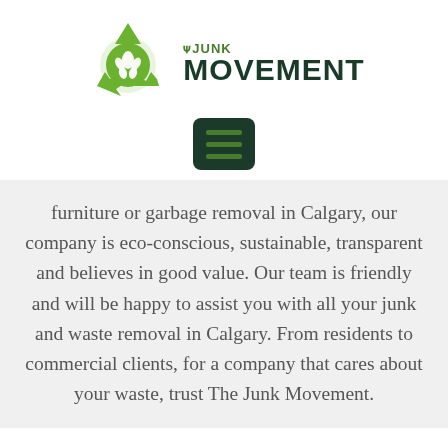[Figure (logo): The Junk Movement logo with green recycling arrows icon and company name in green and dark green text]
[Figure (other): Dark green hamburger menu button with three horizontal green lines]
furniture or garbage removal in Calgary, our company is eco-conscious, sustainable, transparent and believes in good value. Our team is friendly and will be happy to assist you with all your junk and waste removal in Calgary. From residents to commercial clients, for a company that cares about your waste, trust The Junk Movement.